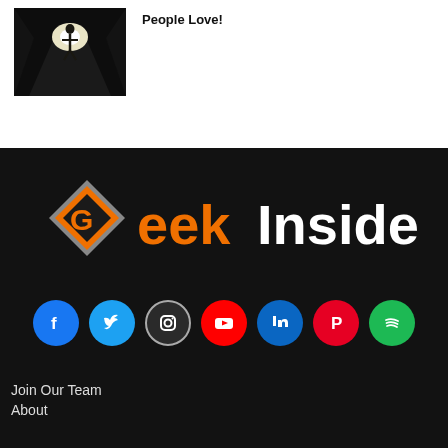People Love!
[Figure (photo): Dark corridor with silhouette of alien/humanoid figure standing at bright light at the end of a tunnel]
[Figure (logo): Geek Insider logo with orange and grey diamond G icon and bold white/orange text reading Geek Insider on black background]
[Figure (infographic): Social media icons row: Facebook (blue), Twitter (blue), Instagram (dark), YouTube (red), LinkedIn (blue), Pinterest (red), Spotify (green)]
Join Our Team
About